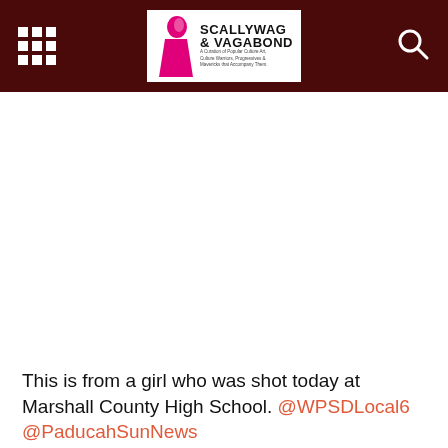Scallywag & Vagabond
This is from a girl who was shot today at Marshall County High School. @WPSDLocal6 @PaducahSunNews
Yes what happened is BAD. But we can't forget, that boy was